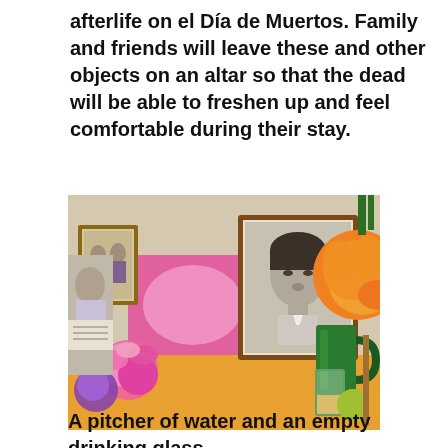afterlife on el Día de Muertos. Family and friends will leave these and other objects on an altar so that the dead will be able to freshen up and feel comfortable during their stay.
[Figure (photo): A Día de Muertos altar with a large framed black-and-white portrait of a young person in the center, surrounded by colorful paper flowers (pink, purple, orange), a green glass pitcher, an empty drinking glass, a bottle, a blue can, marigold flowers, and other offerings on an orange tablecloth.]
A pitcher of water and an empty drinking glass